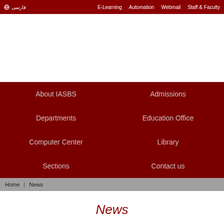فارسی  E-Learning  Automation  Webmail  Staff & Faculty
[Figure (other): White banner/logo area placeholder]
About IASBS
Admissions
Departments
Education Office
Computer Center
Library
Sections
Contact us
Home | News
News